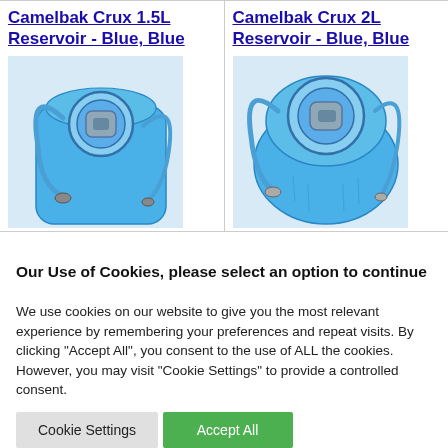Camelbak Crux 1.5L Reservoir - Blue, Blue
[Figure (photo): Camelbak Crux 1.5L hydration reservoir in blue, top-down view showing the large bite valve opening and tube]
Camelbak Crux 2L Reservoir - Blue, Blue
[Figure (photo): Camelbak Crux 2L hydration reservoir in blue, top-down view showing the large bite valve opening and tube]
Our Use of Cookies, please select an option to continue
We use cookies on our website to give you the most relevant experience by remembering your preferences and repeat visits. By clicking "Accept All", you consent to the use of ALL the cookies. However, you may visit "Cookie Settings" to provide a controlled consent.
Cookie Settings | Accept All